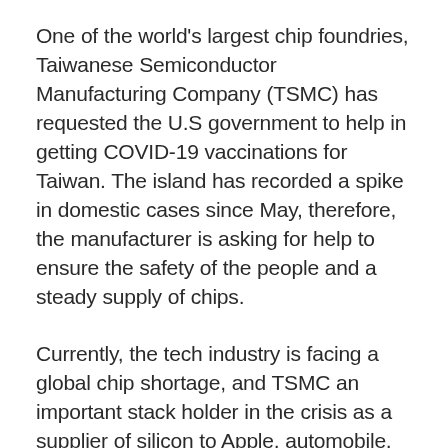One of the world's largest chip foundries, Taiwanese Semiconductor Manufacturing Company (TSMC) has requested the U.S government to help in getting COVID-19 vaccinations for Taiwan. The island has recorded a spike in domestic cases since May, therefore, the manufacturer is asking for help to ensure the safety of the people and a steady supply of chips.
Currently, the tech industry is facing a global chip shortage, and TSMC an important stack holder in the crisis as a supplier of silicon to Apple, automobile, health, and other industries in the U.S. Thus, aiming to improve domestic manufacturing, Joe Biden's administration is assisting TSMC in its ambitious $100 billion investment plan in three years to build at least 6 manufacturing units in Arizona, U.S. However,